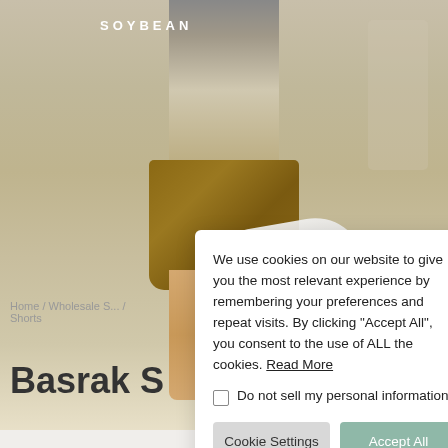[Figure (photo): Product photo of a child wearing khaki/tan shorts, holding a white lace cloth, standing in front of a neutral beige wall. Brand header 'SOYBEAN' visible at top.]
SOYBEAN
Home / Wholesale S... / Shorts
Basrak S...
We use cookies on our website to give you the most relevant experience by remembering your preferences and repeat visits. By clicking “Accept All”, you consent to the use of ALL the cookies. Read More
Do not sell my personal information.
Cookie Settings
Accept All